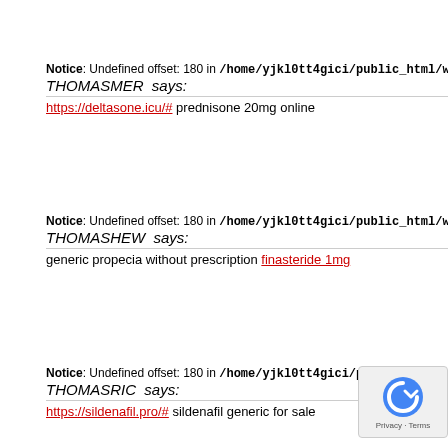Notice: Undefined offset: 180 in /home/yjkl0tt4gici/public_html/wp-conten
THOMASMER says:
https://deltasone.icu/# prednisone 20mg online
Notice: Undefined offset: 180 in /home/yjkl0tt4gici/public_html/wp-conten
THOMASHEW says:
generic propecia without prescription finasteride 1mg
Notice: Undefined offset: 180 in /home/yjkl0tt4gici/public_html/wp-conten
THOMASRIC says:
https://sildenafil.pro/# sildenafil generic for sale
[Figure (other): reCAPTCHA Privacy - Terms badge in bottom right corner]